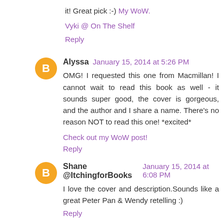it! Great pick :-) My WoW.
Vyki @ On The Shelf
Reply
Alyssa  January 15, 2014 at 5:26 PM
OMG! I requested this one from Macmillan! I cannot wait to read this book as well - it sounds super good, the cover is gorgeous, and the author and I share a name. There's no reason NOT to read this one! *excited*
Check out my WoW post!
Reply
Shane @ItchingforBooks  January 15, 2014 at 6:08 PM
I love the cover and description.Sounds like a great Peter Pan & Wendy retelling :)
Reply